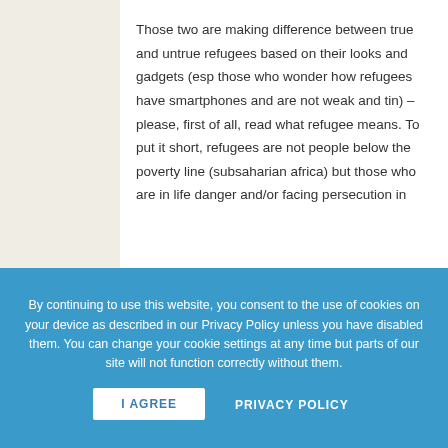Those two are making difference between true and untrue refugees based on their looks and gadgets (esp those who wonder how refugees have smartphones and are not weak and tin) – please, first of all, read what refugee means. To put it short, refugees are not people below the poverty line (subsaharian africa) but those who are in life danger and/or facing persecution in
By continuing to use this website, you consent to the use of cookies on your device as described in our Privacy Policy unless you have disabled them. You can change your cookie settings at any time but parts of our site will not function correctly without them.
I AGREE   PRIVACY POLICY